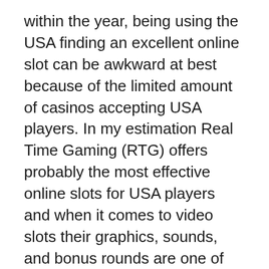within the year, being using the USA finding an excellent online slot can be awkward at best because of the limited amount of casinos accepting USA players. In my estimation Real Time Gaming (RTG) offers probably the most effective online slots for USA players and when it comes to video slots their graphics, sounds, and bonus rounds are one of the best. Most notably their online slots offer a randomly trigged jackpot following ever spin there is a chance for this progressive jackpot to trigger. Here are several the best USA online slots.
The mostly rule you carry to follow is that you should slot online never put money which you comfortably manage to lose. You will need to only provide for the amount cash